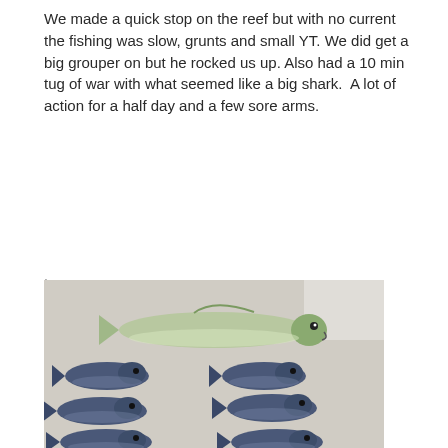We made a quick stop on the reef but with no current the fishing was slow, grunts and small YT. We did get a big grouper on but he rocked us up. Also had a 10 min tug of war with what seemed like a big shark. A lot of action for a half day and a few sore arms.
,
[Figure (photo): Photo of caught fish laid out on a white surface: one larger fish (mahi-mahi/dolphinfish) on top and seven smaller dark blue/silver fish (likely bonito or small tuna) arranged in rows below it.]
,
Sunday's plan was to hit some weedlines in 650-1000 looking for bigger fish. Found a nice patch at 680 so lines in and it was not long before fish on. First one was a keeper but released we are